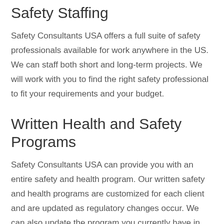Safety Staffing
Safety Consultants USA offers a full suite of safety professionals available for work anywhere in the US. We can staff both short and long-term projects. We will work with you to find the right safety professional to fit your requirements and your budget.
Written Health and Safety Programs
Safety Consultants USA can provide you with an entire safety and health program. Our written safety and health programs are customized for each client and are updated as regulatory changes occur. We can also update the program you currently have in place to ensure it meets current OSHA regulations.